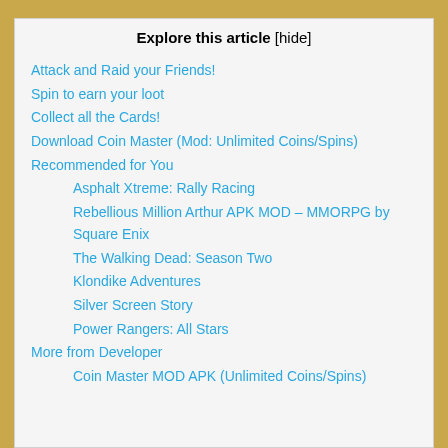Explore this article [hide]
Attack and Raid your Friends!
Spin to earn your loot
Collect all the Cards!
Download Coin Master (Mod: Unlimited Coins/Spins)
Recommended for You
Asphalt Xtreme: Rally Racing
Rebellious Million Arthur APK MOD – MMORPG by Square Enix
The Walking Dead: Season Two
Klondike Adventures
Silver Screen Story
Power Rangers: All Stars
More from Developer
Coin Master MOD APK (Unlimited Coins/Spins)